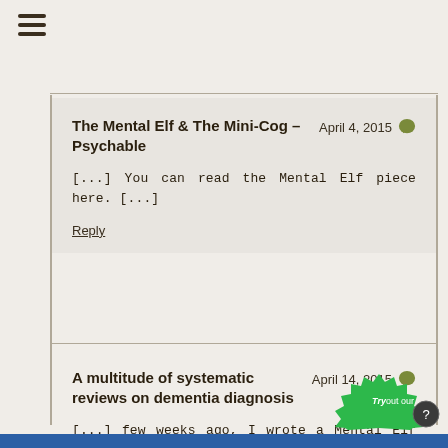☰ (hamburger menu)
The Mental Elf & The Mini-Cog – Psychable
April 4, 2015
[...] You can read the Mental Elf piece here. [...]
Reply
A multitude of systematic reviews on dementia diagnosis
April 14, 2015
[...] few weeks ago, I wrote a Mental Elf blog about a Cochrane Systematic Review looking at how effective the Mini-Cog is to diagnose dementia [...]
Reply